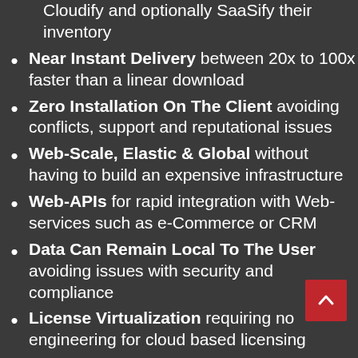Cloudify and optionally SaaSify their inventory
Near Instant Delivery between 20x to 100x faster than a linear download
Zero Installation On The Client avoiding conflicts, support and reputational issues
Web-Scale, Elastic & Global without having to build an expensive infrastructure
Web-APIs for rapid integration with Web-services such as e-Commerce or CRM
Data Can Remain Local To The User avoiding issues with security and compliance
License Virtualization requiring no engineering for cloud based licensing
Drastically Reduced Piracy helping ISVs to increase their revenues